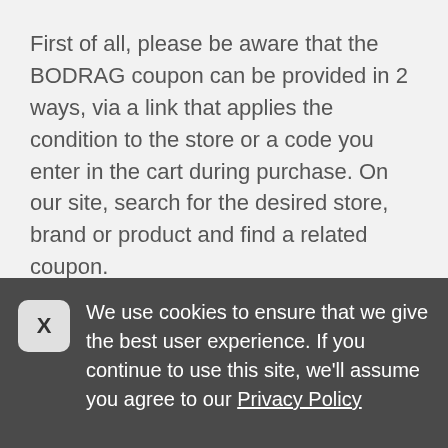First of all, please be aware that the BODRAG coupon can be provided in 2 ways, via a link that applies the condition to the store or a code you enter in the cart during purchase. On our site, search for the desired store, brand or product and find a related coupon.
Enjoy the BODRAG promotion with your friends and family!
Sign up for our newsletter to stay informed of all new discount coupons!
We use cookies to ensure that we give the best user experience. If you continue to use this site, we'll assume you agree to our Privacy Policy